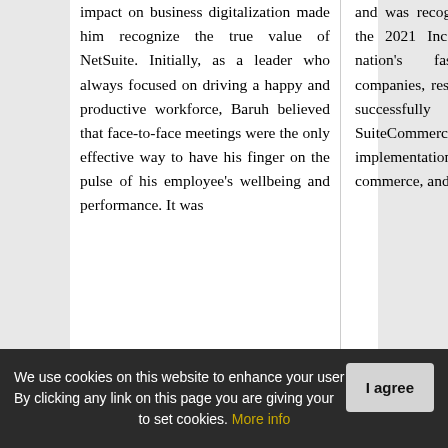impact on business digitalization made him recognize the true value of NetSuite. Initially, as a leader who always focused on driving a happy and productive workforce, Baruh believed that face-to-face meetings were the only effective way to have his finger on the pulse of his employee's wellbeing and performance. It was
and was recognized as an honoree in the 2021 Inc. 5000 as one of the nation's fastest-growing private companies, resulting from its ability to successfully deliver NetSuite SuiteCommerce and ERP implementations across the retail, e-commerce, and other markets. Moving
We use cookies on this website to enhance your user experience. By clicking any link on this page you are giving your consent for us to set cookies. More info